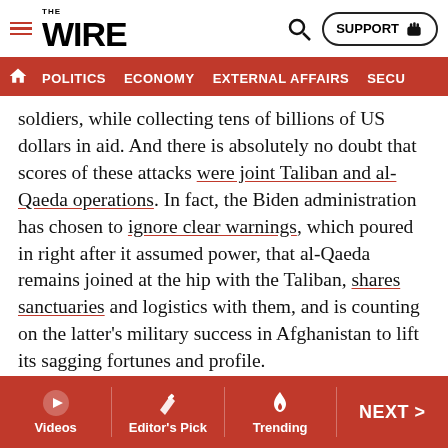THE WIRE — SUPPORT | POLITICS | ECONOMY | EXTERNAL AFFAIRS | SECU...
soldiers, while collecting tens of billions of US dollars in aid. And there is absolutely no doubt that scores of these attacks were joint Taliban and al-Qaeda operations. In fact, the Biden administration has chosen to ignore clear warnings, which poured in right after it assumed power, that al-Qaeda remains joined at the hip with the Taliban, shares sanctuaries and logistics with them, and is counting on the latter's military success in Afghanistan to lift its sagging fortunes and profile.
Nevertheless, the Biden administration is keen on doing the same thing over and over again while expecting different results. It is talking to Pakistan's army, which rules
Videos | Editor's Pick | Trending | NEXT >